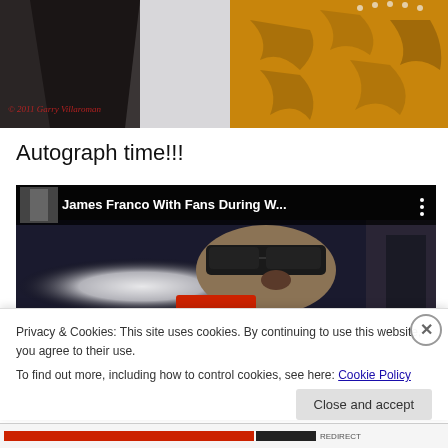[Figure (photo): Top portion of a photo showing two people at an event — person in white shirt on left, person in orange/gold patterned top with pearl necklace on right. Red italic copyright text reads '© 2011 Garry Villaroman' in bottom left of photo.]
Autograph time!!!
[Figure (screenshot): YouTube video thumbnail titled 'James Franco With Fans During W...' showing a man wearing sunglasses, with bright flash lights in background. A red play button area is visible at the bottom center. Three-dot menu icon on top right.]
Privacy & Cookies: This site uses cookies. By continuing to use this website, you agree to their use.
To find out more, including how to control cookies, see here: Cookie Policy
Close and accept